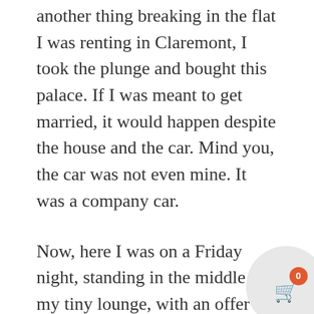another thing breaking in the flat I was renting in Claremont, I took the plunge and bought this palace. If I was meant to get married, it would happen despite the house and the car. Mind you, the car was not even mine. It was a company car.
Now, here I was on a Friday night, standing in the middle of my tiny lounge, with an offer of employment to a marketing and design agency in Joburg. I was thrilled by this offer. The company came highly recommended and I would be working with people I held in high regard in the field of marketing. But I also had some reservations. Joburg's reputation a fast-paced city with sophisticated and